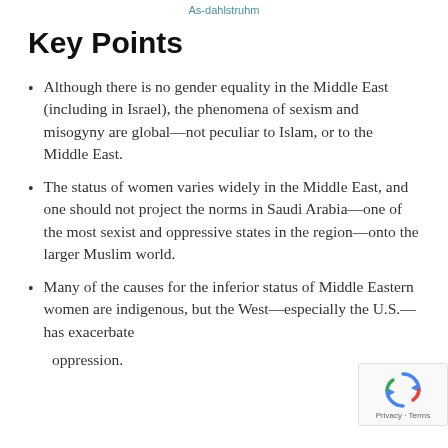As-Dahlstruhm
Key Points
Although there is no gender equality in the Middle East (including in Israel), the phenomena of sexism and misogyny are global—not peculiar to Islam, or to the Middle East.
The status of women varies widely in the Middle East, and one should not project the norms in Saudi Arabia—one of the most sexist and oppressive states in the region—onto the larger Muslim world.
Many of the causes for the inferior status of Middle Eastern women are indigenous, but the West—especially the U.S.—has exacerbated their oppression.